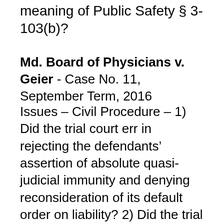secondary employment within the meaning of Public Safety § 3-103(b)?
Md. Board of Physicians v. Geier - Case No. 11, September Term, 2016
Issues – Civil Procedure – 1) Did the trial court err in rejecting the defendants' assertion of absolute quasi-judicial immunity and denying reconsideration of its default order on liability? 2) Did the trial court err in compelling the production of personal financial information in aid of punitive damages despite the defendants' absolute quasi-judicial immunity? 3) Did the trial court err in granting the Respondents' motion